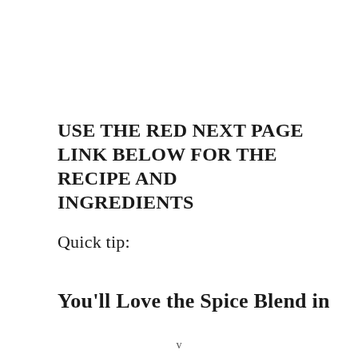USE THE RED NEXT PAGE LINK BELOW FOR THE RECIPE AND INGREDIENTS
Quick tip:
You'll Love the Spice Blend in